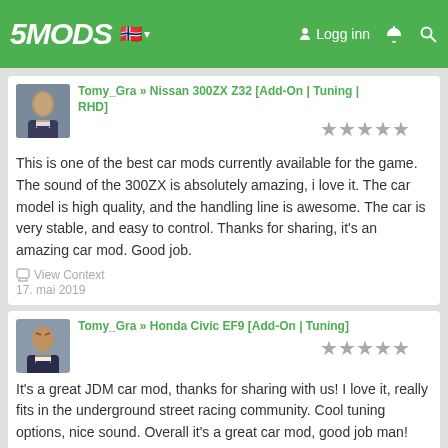5MODS — Logg inn — Navigation header with Norwegian flag
Tomy_Gra » Nissan 300ZX Z32 [Add-On | Tuning | RHD]
This is one of the best car mods currently available for the game. The sound of the 300ZX is absolutely amazing, i love it. The car model is high quality, and the handling line is awesome. The car is very stable, and easy to control. Thanks for sharing, it's an amazing car mod. Good job.
View Context
17. mai 2019
Tomy_Gra » Honda Civic EF9 [Add-On | Tuning]
It's a great JDM car mod, thanks for sharing with us! I love it, really fits in the underground street racing community. Cool tuning options, nice sound. Overall it's a great car mod, good job man!
View Context
17. mai 2019